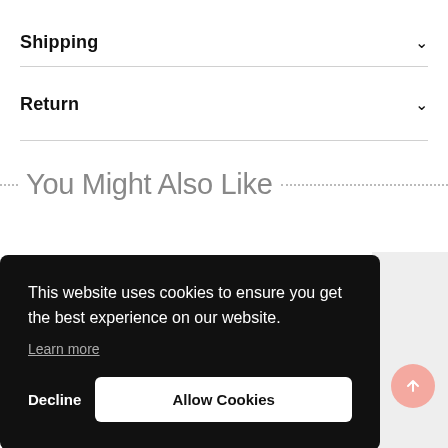Shipping
Return
You Might Also Like
This website uses cookies to ensure you get the best experience on our website.
Learn more
Decline   Allow Cookies